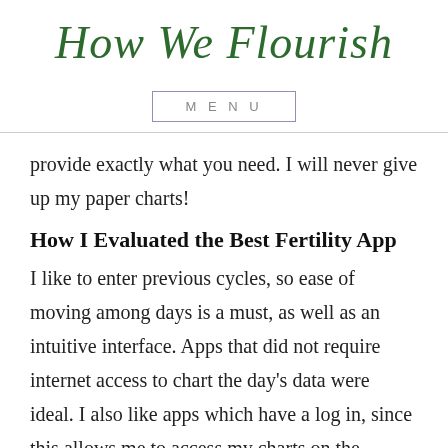How We Flourish
MENU
provide exactly what you need. I will never give up my paper charts!
How I Evaluated the Best Fertility App
I like to enter previous cycles, so ease of moving among days is a must, as well as an intuitive interface. Apps that did not require internet access to chart the day's data were ideal. I also like apps which have a log in, since this allows me to access my charts on the computer and I won't lose my data